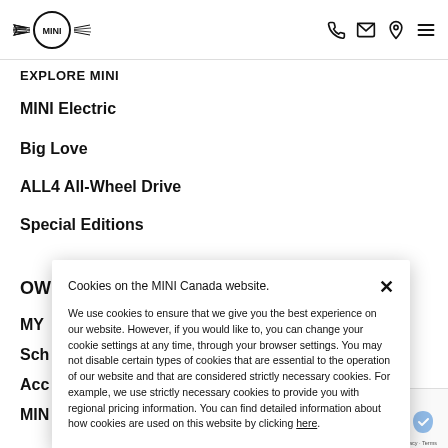MINI logo and navigation icons (phone, email, location, menu)
EXPLORE MINI
MINI Electric
Big Love
ALL4 All-Wheel Drive
Special Editions
OWN
MY
Sch
Acc
MIN
Cookies on the MINI Canada website.

We use cookies to ensure that we give you the best experience on our website. However, if you would like to, you can change your cookie settings at any time, through your browser settings. You may not disable certain types of cookies that are essential to the operation of our website and that are considered strictly necessary cookies. For example, we use strictly necessary cookies to provide you with regional pricing information. You can find detailed information about how cookies are used on this website by clicking here.